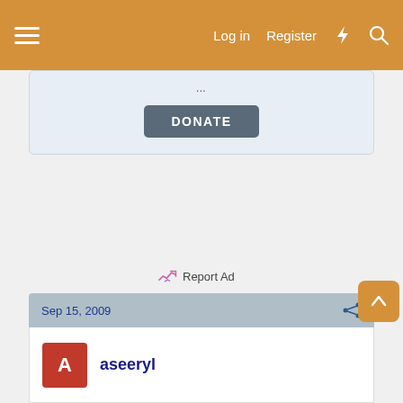Log in  Register
[Figure (screenshot): Navigation bar with hamburger menu, Log in, Register, lightning bolt icon, and search icon on amber/orange background]
DONATE
Report Ad
Sep 15, 2009
aseeryl